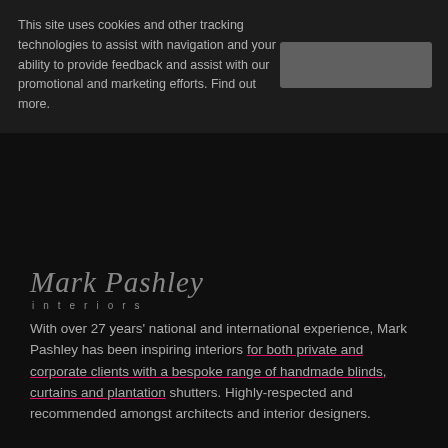This site uses cookies and other tracking technologies to assist with navigation and your ability to provide feedback and assist with our promotional and marketing efforts. Find out more.
[Figure (other): Grey rectangular button (cookie accept/close button)]
[Figure (logo): Mark Pashley Interiors logo — stylized script text 'Mark Pashley' above spaced-letter text 'interiors']
With over 27 years' national and international experience, Mark Pashley has been inspiring interiors for both private and corporate clients with a bespoke range of handmade blinds, curtains and plantation shutters. Highly-respected and recommended amongst architects and interior designers.
Home
About Us
Services